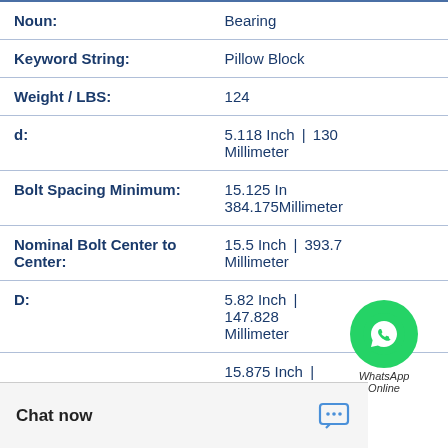| Field | Value |
| --- | --- |
| Noun: | Bearing |
| Keyword String: | Pillow Block |
| Weight / LBS: | 124 |
| d: | 5.118 Inch | 130 Millimeter |
| Bolt Spacing Minimum: | 15.125 Inch | 384.175 Millimeter |
| Nominal Bolt Center to Center: | 15.5 Inch | 393.7 Millimeter |
| D: | 5.82 Inch | 147.828 Millimeter |
|  | 15.875 Inch | 403.225 Millimeter |
[Figure (logo): WhatsApp green circle icon with phone handset, labeled 'WhatsApp Online']
Chat now